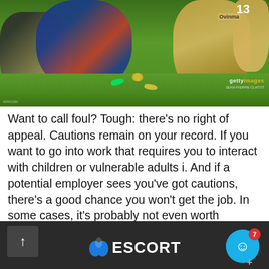[Figure (photo): Rugby players in action during a match. Players in blue/red strip tackled by players in gold/yellow. Getty Images watermark visible. Green grass field background.]
Want to call foul? Tough: there's no right of appeal. Cautions remain on your record. If you want to go into work that requires you to interact with children or vulnerable adults i. And if a potential employer sees you've got cautions, there's a good chance you won't get the job. In some cases, it's probably not even worth applying. Joanne, in her forties, is the primary carer for her severely disabled daughter.
ESCORT